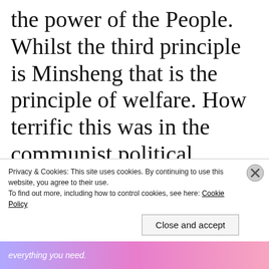the power of the People. Whilst the third principle is Minsheng that is the principle of welfare. How terrific this was in the communist political system. Dr Sun Yat Sen applied these t...
Privacy & Cookies: This site uses cookies. By continuing to use this website, you agree to their use. To find out more, including how to control cookies, see here: Cookie Policy
Close and accept
everything you need.